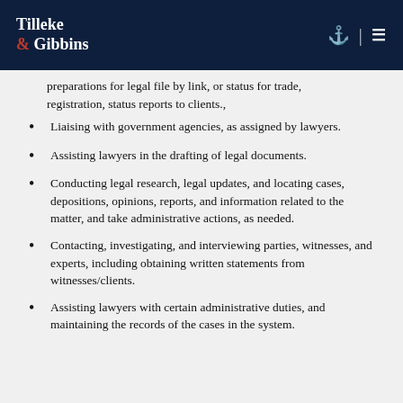Tilleke & Gibbins
preparations for legal file by link, or status for trade, registration, status reports to clients.,
Liaising with government agencies, as assigned by lawyers.
Assisting lawyers in the drafting of legal documents.
Conducting legal research, legal updates, and locating cases, depositions, opinions, reports, and information related to the matter, and take administrative actions, as needed.
Contacting, investigating, and interviewing parties, witnesses, and experts, including obtaining written statements from witnesses/clients.
Assisting lawyers with certain administrative duties, and maintaining the records of the cases in the system.